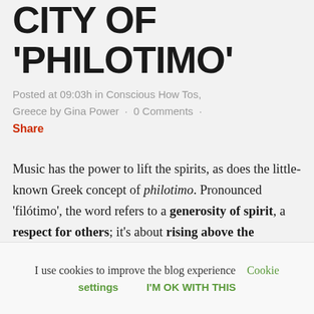CITY OF 'PHILOTIMO'
Posted at 09:03h in Conscious How Tos, Greece by Gina Power · 0 Comments ·
Share
Music has the power to lift the spirits, as does the little-known Greek concept of philotimo. Pronounced 'filótimo', the word refers to a generosity of spirit, a respect for others; it's about rising above the pettiness
I use cookies to improve the blog experience   Cookie settings   I'M OK WITH THIS